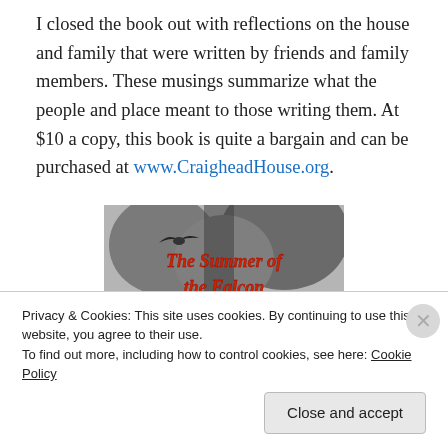I closed the book out with reflections on the house and family that were written by friends and family members. These musings summarize what the people and place meant to those writing them. At $10 a copy, this book is quite a bargain and can be purchased at www.CraigheadHouse.org.
[Figure (photo): Book cover image showing 'The Summer of the Falcon' in red italic script over a black and white photograph of a group of people outdoors with trees in the background and a bird in flight.]
Privacy & Cookies: This site uses cookies. By continuing to use this website, you agree to their use. To find out more, including how to control cookies, see here: Cookie Policy